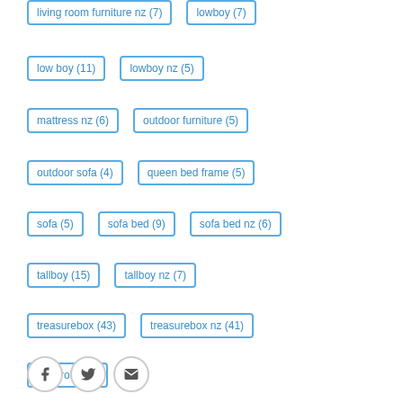living room furniture nz (7)
lowboy (7)
low boy (11)
lowboy nz (5)
mattress nz (6)
outdoor furniture (5)
outdoor sofa (4)
queen bed frame (5)
sofa (5)
sofa bed (9)
sofa bed nz (6)
tallboy (15)
tallboy nz (7)
treasurebox (43)
treasurebox nz (41)
wardrobe (9)
[Figure (other): Social sharing buttons: Facebook, Twitter, Email]